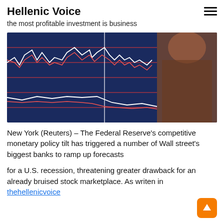Hellenic Voice
the most profitable investment is business
[Figure (photo): A financial trading screen showing white and red line charts on a dark blue background, with a blurred person visible on the right side.]
New York (Reuters) – The Federal Reserve's competitive monetary policy tilt has triggered a number of Wall street's biggest banks to ramp up forecasts
for a U.S. recession, threatening greater drawback for an already bruised stock marketplace. As writen in thehellenicvoice